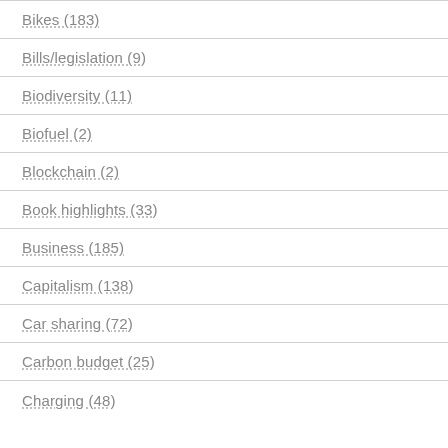Bikes (183)
Bills/legislation (9)
Biodiversity (11)
Biofuel (2)
Blockchain (2)
Book highlights (33)
Business (185)
Capitalism (138)
Car sharing (72)
Carbon budget (25)
Charging (48)